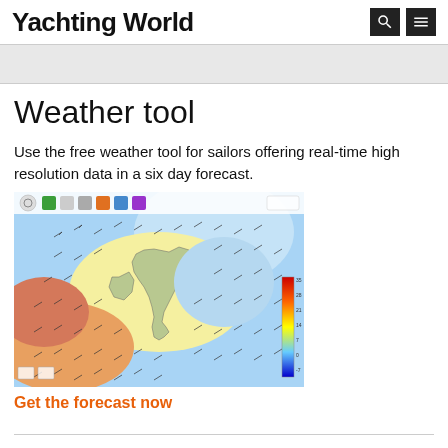Yachting World
Weather tool
Use the free weather tool for sailors offering real-time high resolution data in a six day forecast.
[Figure (map): Weather map showing wind and temperature forecast over the UK and surrounding seas with a colour scale bar on the right side and toolbar icons at the top.]
Get the forecast now